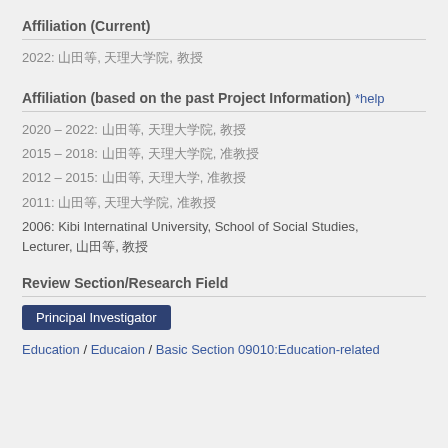Affiliation (Current)
2022: 山田等, 天理大学院, 教授
Affiliation (based on the past Project Information) *help
2020 – 2022: 山田等, 天理大学院, 教授
2015 – 2018: 山田等, 天理大学院, 准教授
2012 – 2015: 山田等, 天理大学, 准教授
2011: 山田等, 天理大学院, 准教授
2006: Kibi Internatinal University, School of Social Studies, Lecturer, 山田等, 教授
Review Section/Research Field
Principal Investigator
Education / Educaion / Basic Section 09010:Education-related